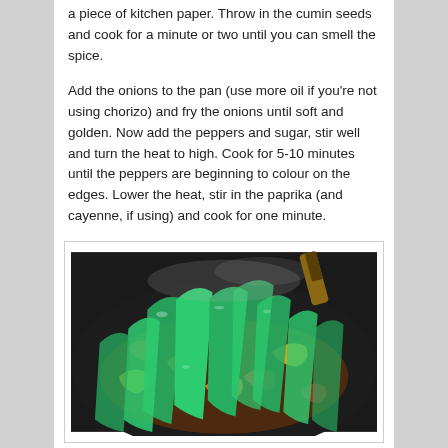a piece of kitchen paper. Throw in the cumin seeds and cook for a minute or two until you can smell the spice.
Add the onions to the pan (use more oil if you're not using chorizo) and fry the onions until soft and golden. Now add the peppers and sugar, stir well and turn the heat to high. Cook for 5-10 minutes until the peppers are beginning to colour on the edges. Lower the heat, stir in the paprika (and cayenne, if using) and cook for one minute.
[Figure (photo): A photograph of colorful sliced peppers (green, yellow, red, orange) being stir-fried in a dark pan or wok, with steam rising. A wooden spatula is visible at the top.]